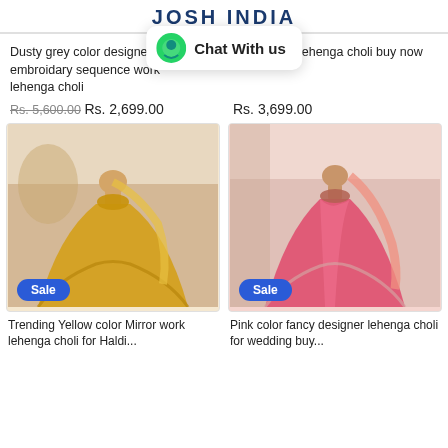JOSH INDIA
Dusty grey color designer embroidary sequence work lehenga choli
Chat With us
grey color designer mirror work lehenga choli buy now
Rs. 5,600.00  Rs. 2,699.00  Rs. 3,699.00
[Figure (photo): Yellow lehenga choli on mannequin with Sale badge]
[Figure (photo): Pink lehenga choli on mannequin with Sale badge]
Trending Yellow color Mirror work lehenga choli for Haldi...
Pink color fancy designer lehenga choli for wedding buy...